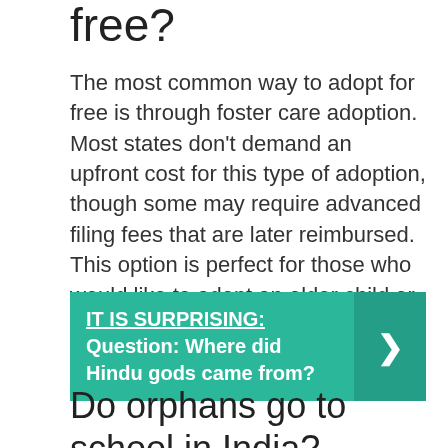free?
The most common way to adopt for free is through foster care adoption. Most states don't demand an upfront cost for this type of adoption, though some may require advanced filing fees that are later reimbursed. This option is perfect for those who would like to adopt an older child or who don't mind a longer wait.
[Figure (infographic): Teal callout box with text 'IT IS SURPRISING: Question: Where did Hindu gods came from?' and a right-facing chevron arrow on the right side in a darker teal panel.]
Do orphans go to school in India?